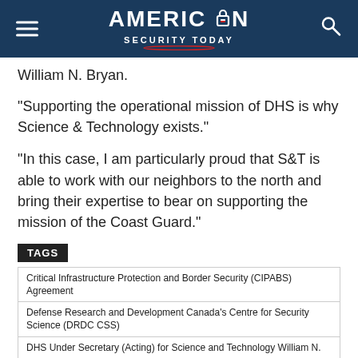American Security Today
William N. Bryan.
“Supporting the operational mission of DHS is why Science & Technology exists.”
“In this case, I am particularly proud that S&T is able to work with our neighbors to the north and bring their expertise to bear on supporting the mission of the Coast Guard.”
TAGS
Critical Infrastructure Protection and Border Security (CIPABS) Agreement
Defense Research and Development Canada’s Centre for Security Science (DRDC CSS)
DHS Under Secretary (Acting) for Science and Technology William N.